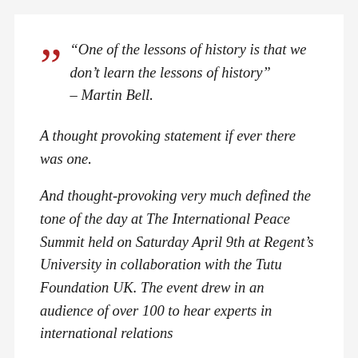“One of the lessons of history is that we don’t learn the lessons of history” – Martin Bell.
A thought provoking statement if ever there was one.
And thought-provoking very much defined the tone of the day at The International Peace Summit held on Saturday April 9th at Regent’s University in collaboration with the Tutu Foundation UK. The event drew in an audience of over 100 to hear experts in international relations